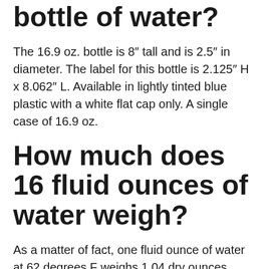What is the size of a bottle of water?
The 16.9 oz. bottle is 8″ tall and is 2.5″ in diameter. The label for this bottle is 2.125″ H x 8.062″ L. Available in lightly tinted blue plastic with a white flat cap only. A single case of 16.9 oz.
How much does 16 fluid ounces of water weigh?
As a matter of fact, one fluid ounce of water at 62 degrees F weighs 1.04 dry ounces (133.44/128). *This means that for every 16 fluid ounces of water at 62 degrees F, it will